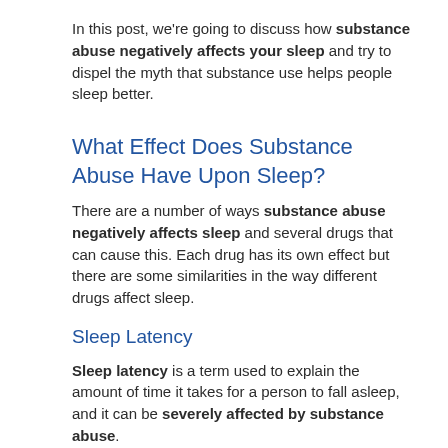In this post, we're going to discuss how substance abuse negatively affects your sleep and try to dispel the myth that substance use helps people sleep better.
What Effect Does Substance Abuse Have Upon Sleep?
There are a number of ways substance abuse negatively affects sleep and several drugs that can cause this. Each drug has its own effect but there are some similarities in the way different drugs affect sleep.
Sleep Latency
Sleep latency is a term used to explain the amount of time it takes for a person to fall asleep, and it can be severely affected by substance abuse.
Although drugs such as alcohol and cannabis are known for helping people to fall to sleep quickly, this is only true when consumed in healthy people who take the drugs